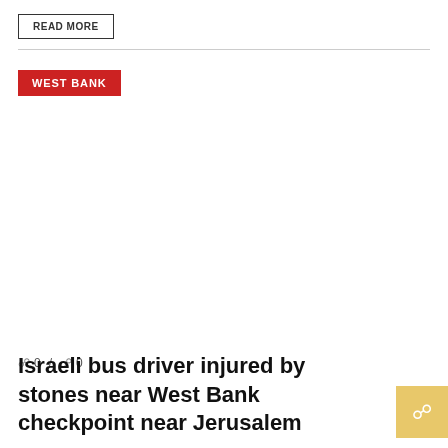READ MORE
WEST BANK
0  /  0
Israeli bus driver injured by stones near West Bank checkpoint near Jerusalem